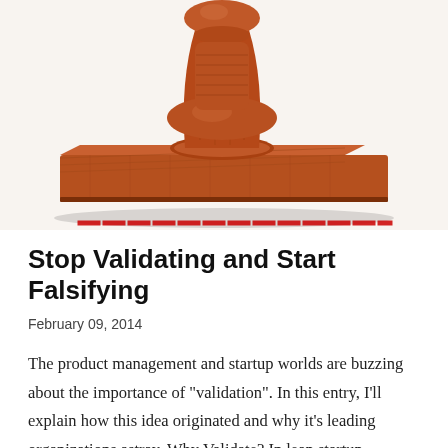[Figure (photo): A wooden rubber stamp resting on its base, with a partial red stamp impression visible at the bottom edge. The stamp has a decorative handle on top and a flat rectangular base, photographed on a white background.]
Stop Validating and Start Falsifying
February 09, 2014
The product management and startup worlds are buzzing about the importance of "validation". In this entry, I'll explain how this idea originated and why it's leading organizations astray. Why Validate? In lean startup circl …